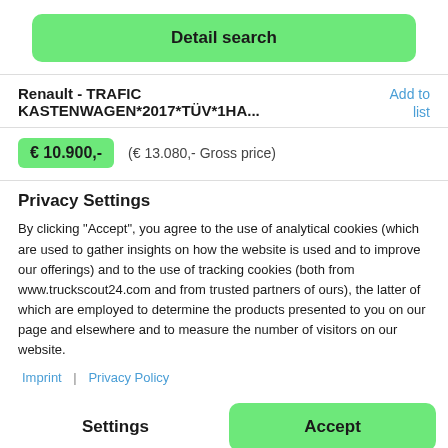Detail search
Renault - TRAFIC KASTENWAGEN*2017*TÜV*1HA...
Add to list
€ 10.900,-
(€ 13.080,- Gross price)
Privacy Settings
By clicking "Accept", you agree to the use of analytical cookies (which are used to gather insights on how the website is used and to improve our offerings) and to the use of tracking cookies (both from www.truckscout24.com and from trusted partners of ours), the latter of which are employed to determine the products presented to you on our page and elsewhere and to measure the number of visitors on our website.
Imprint | Privacy Policy
Settings
Accept